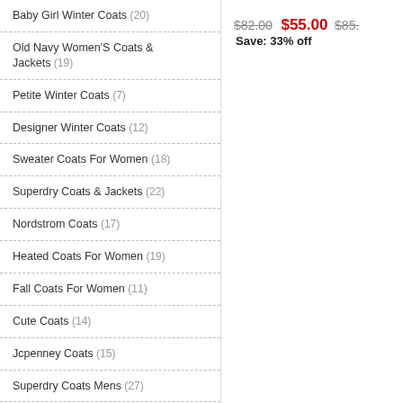Baby Girl Winter Coats (20)
Old Navy Women'S Coats & Jackets (19)
Petite Winter Coats (7)
Designer Winter Coats (12)
Sweater Coats For Women (18)
Superdry Coats & Jackets (22)
Nordstrom Coats (17)
Heated Coats For Women (19)
Fall Coats For Women (11)
Cute Coats (14)
Jcpenney Coats (15)
Superdry Coats Mens (27)
Guess Coats & Jackets (22)
Junior Coats (19)
Bernardo Coats (19)
$82.00  $55.00  $85.  Save: 33% off